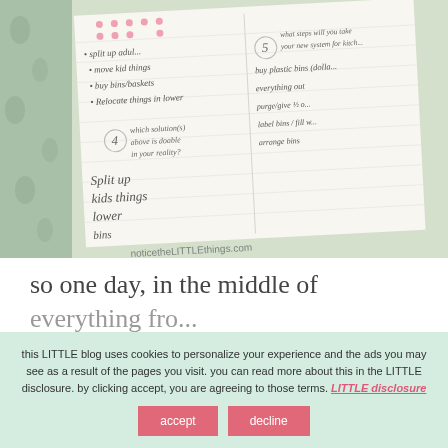[Figure (photo): A handwritten notebook/planner page showing bullet points about organizing (split up adult things, move kid things, buy bins/baskets, relocate things to lower areas) with section numbers 4 and 5, with a green floral fabric visible on the left. Watermark reads noticetheLITTLEthings.com]
so one day, in the middle of everything fro...
this LITTLE blog uses cookies to personalize your experience and the ads you may see as a result of the pages you visit. you can read more about this in the LITTLE disclosure. by clicking accept, you are agreeing to those terms. LITTLE disclosure    accept    decline